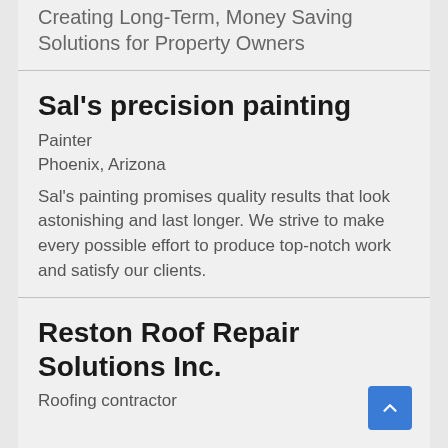Creating Long-Term, Money Saving Solutions for Property Owners
Sal's precision painting
Painter
Phoenix, Arizona
Sal's painting promises quality results that look astonishing and last longer. We strive to make every possible effort to produce top-notch work and satisfy our clients.
Reston Roof Repair Solutions Inc.
Roofing contractor